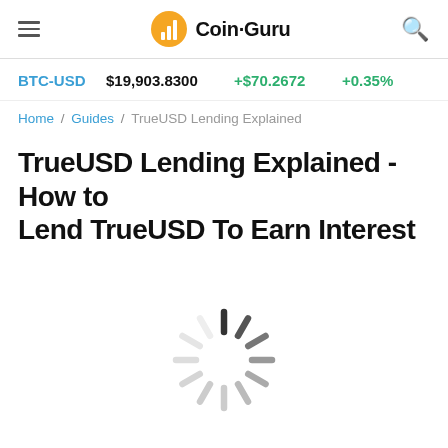Coin-Guru
BTC-USD  $19,903.8300  +$70.2672  +0.35%
Home / Guides / TrueUSD Lending Explained
TrueUSD Lending Explained - How to Lend TrueUSD To Earn Interest
[Figure (other): Loading spinner animation — circular array of radial lines in varying shades of gray, indicating content is loading]